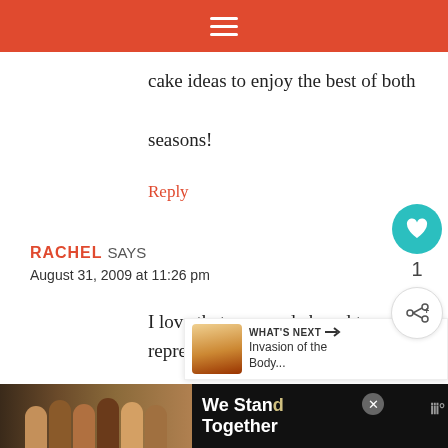[Figure (screenshot): Red navigation bar with hamburger menu icon at top of page]
cake ideas to enjoy the best of both seasons!
Reply
RACHEL SAYS
August 31, 2009 at 11:26 pm
I love that you made bread to represent the clash of the seasons! It looks very
[Figure (screenshot): What's Next widget showing Invasion of the Body... with food thumbnail image]
[Figure (screenshot): Advertisement banner: We Stand Together with group photo of people and close button]